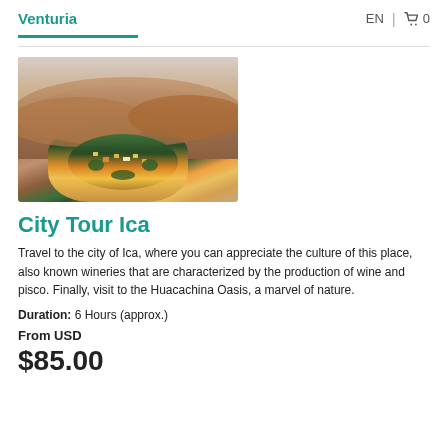Venturia  EN  🛒 0
[Figure (photo): Aerial photograph of Huacachina Oasis in Ica, Peru, showing a lagoon village surrounded by large sand dunes at dusk with warm lighting]
City Tour Ica
Travel to the city of Ica, where you can appreciate the culture of this place, also known wineries that are characterized by the production of wine and pisco. Finally, visit to the Huacachina Oasis, a marvel of nature.
Duration: 6 Hours (approx.)
From USD
$85.00